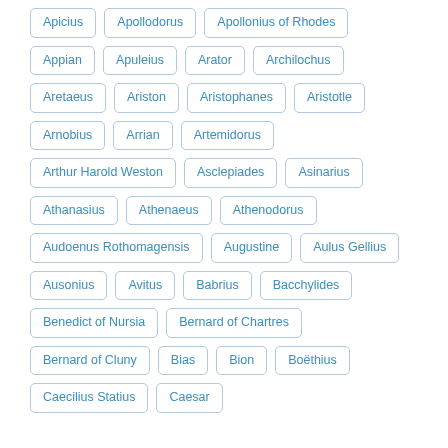Apicius
Apollodorus
Apollonius of Rhodes
Appian
Apuleius
Arator
Archilochus
Aretaeus
Ariston
Aristophanes
Aristotle
Arnobius
Arrian
Artemidorus
Arthur Harold Weston
Asclepiades
Asinarius
Athanasius
Athenaeus
Athenodorus
Audoenus Rothomagensis
Augustine
Aulus Gellius
Ausonius
Avitus
Babrius
Bacchylides
Benedict of Nursia
Bernard of Chartres
Bernard of Cluny
Bias
Bion
Boëthius
Caecilius Statius
Caesar